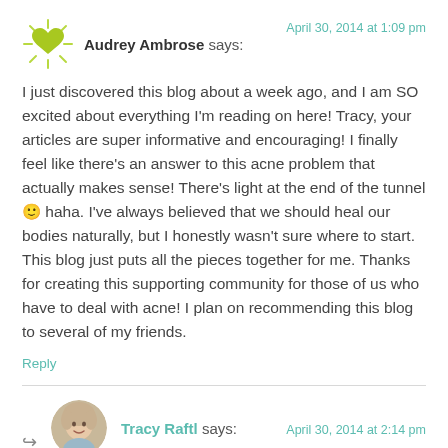[Figure (illustration): Green heart avatar icon with radiating lines suggesting a glowing heart, representing Audrey Ambrose's profile avatar]
Audrey Ambrose says:
April 30, 2014 at 1:09 pm
I just discovered this blog about a week ago, and I am SO excited about everything I'm reading on here! Tracy, your articles are super informative and encouraging! I finally feel like there's an answer to this acne problem that actually makes sense! There's light at the end of the tunnel 🙂 haha. I've always believed that we should heal our bodies naturally, but I honestly wasn't sure where to start. This blog just puts all the pieces together for me. Thanks for creating this supporting community for those of us who have to deal with acne! I plan on recommending this blog to several of my friends.
Reply
[Figure (photo): Circular profile photo of Tracy Raftl, a woman with light hair]
Tracy Raftl says:
April 30, 2014 at 2:14 pm